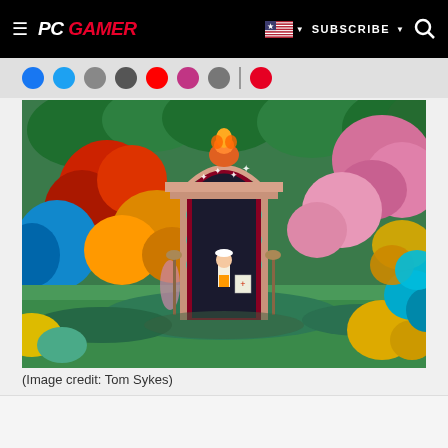PC GAMER | SUBSCRIBE | Search
[Figure (screenshot): Colorful indie game screenshot showing a decorative stone arch/gate surrounded by vibrantly colored trees in red, blue, yellow, pink, and green. A small character stands in front of the gate which has teal circular decorations. The scene is a lush, stylized fantasy garden.]
(Image credit: Tom Sykes)